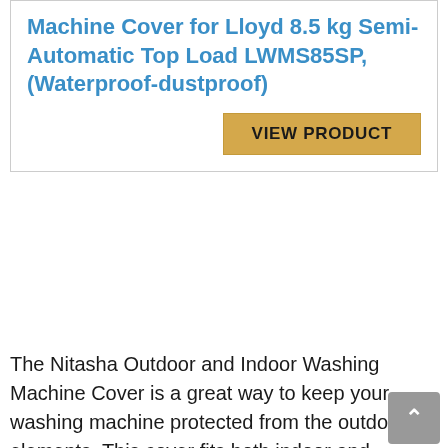Machine Cover for Lloyd 8.5 kg Semi-Automatic Top Load LWMS85SP, (Waterproof-dustproof)
VIEW PRODUCT
The Nitasha Outdoor and Indoor Washing Machine Cover is a great way to keep your washing machine protected from the outdoor elements. This cover fits both indoor and outdoor washing machines, and it's made of heavy-duty vinyl that is water resistant. The cover also has a zipper closure to make sure it stays in place, and it comes in several different colors so you can choose the one that best matches your home decor. Reviewers love this product because it's easy